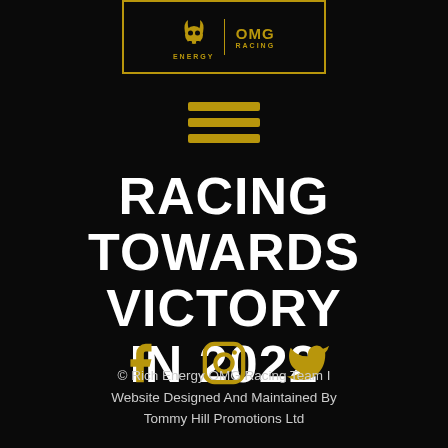[Figure (logo): Rich Energy OMG Racing team logo in a gold-bordered box, showing a horned skull icon with ENERGY text and OMG RACING text side by side]
[Figure (other): Three horizontal gold hamburger menu lines (navigation icon)]
RACING TOWARDS VICTORY IN 2022
[Figure (other): Three gold social media icons: Facebook, Instagram, Twitter]
© Rich Energy OMG Racing Team I Website Designed And Maintained By Tommy Hill Promotions Ltd